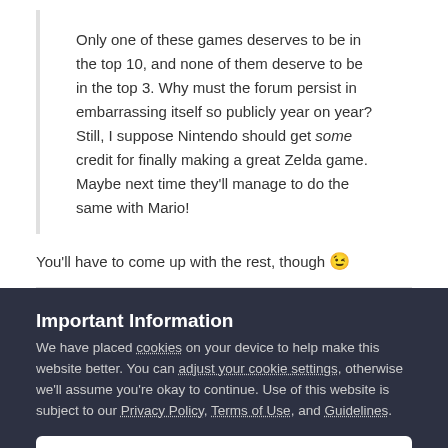Only one of these games deserves to be in the top 10, and none of them deserve to be in the top 3. Why must the forum persist in embarrassing itself so publicly year on year? Still, I suppose Nintendo should get some credit for finally making a great Zelda game. Maybe next time they'll manage to do the same with Mario!
You'll have to come up with the rest, though 😉
Important Information
We have placed cookies on your device to help make this website better. You can adjust your cookie settings, otherwise we'll assume you're okay to continue. Use of this website is subject to our Privacy Policy, Terms of Use, and Guidelines.
✔ I accept